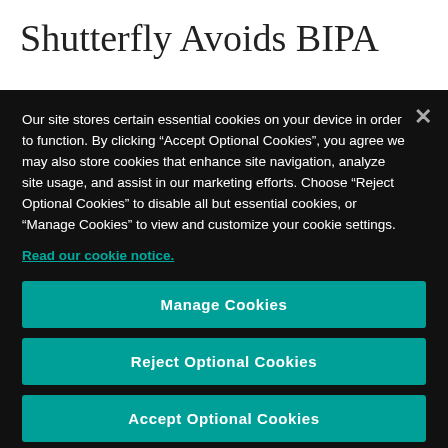Shutterfly Avoids BIPA
Our site stores certain essential cookies on your device in order to function. By clicking “Accept Optional Cookies”, you agree we may also store cookies that enhance site navigation, analyze site usage, and assist in our marketing efforts. Choose “Reject Optional Cookies” to disable all but essential cookies, or “Manage Cookies” to view and customize your cookie settings.
Read our cookie notice.
Manage Cookies
Reject Optional Cookies
Accept Optional Cookies